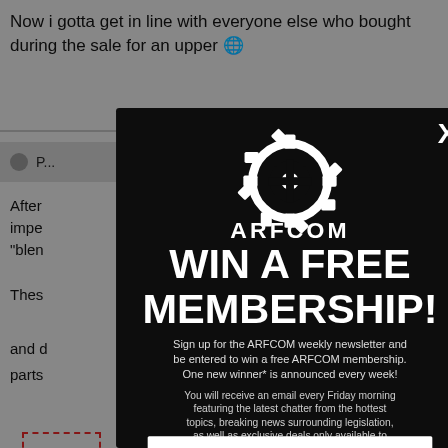Now i gotta get in line with everyone else who bought during the sale for an upper 🌐
After ... impe... "blen...
Thes... shit and d... o parts...
Befo...
[Figure (screenshot): ARFCOM modal popup overlay on a forum page. Modal has dark background with ARFCOM gear logo, headline 'WIN A FREE MEMBERSHIP!', subscription text, and an email input field at the bottom. An X close button appears in the top right of the modal.]